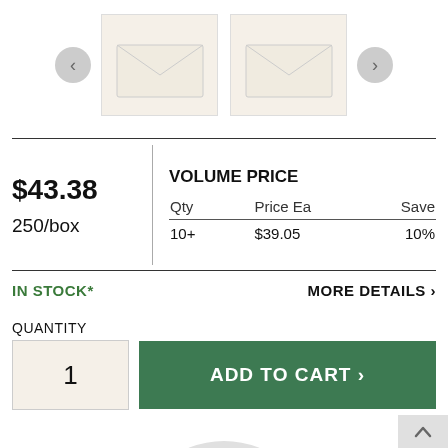[Figure (screenshot): Product image carousel showing two envelope thumbnail images with left and right navigation arrows]
$43.38
250/box
VOLUME PRICE
| Qty | Price Ea | Save |
| --- | --- | --- |
| 10+ | $39.05 | 10% |
IN STOCK*
MORE DETAILS ›
QUANTITY
1
ADD TO CART ›